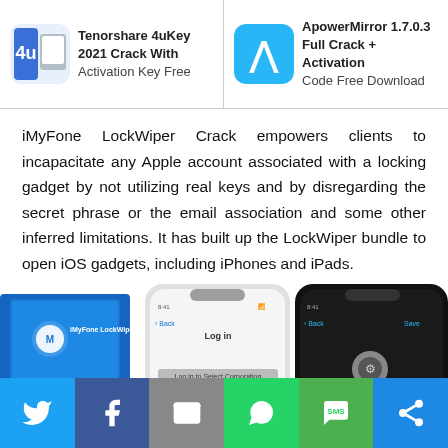Tenorshare 4uKey 2021 Crack With Activation Key Free | ApowerMirror 1.7.0.3 Full Crack + Activation Code Free Download
iMyFone LockWiper Crack empowers clients to incapacitate any Apple account associated with a locking gadget by not utilizing real keys and by disregarding the secret phrase or the email association and some other inferred limitations. It has built up the LockWiper bundle to open iOS gadgets, including iPhones and iPads.
[Figure (photo): Product image showing iMyFone LockWiper software box and two iPhone screens showing Lock/Back login screens]
Social share bar: Twitter, Facebook, Email, WhatsApp, SMS, Share